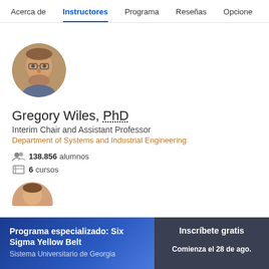Acerca de  Instructores  Programa  Reseñas  Opcione
[Figure (photo): Circular profile photo of Gregory Wiles, PhD - a middle-aged man with glasses and a beard, smiling]
Gregory Wiles, PhD
Interim Chair and Assistant Professor
Department of Systems and Industrial Engineering
138.856 alumnos
6 cursos
[Figure (photo): Partial circular profile photo of a second instructor, partially visible at bottom]
Programa especializado: Six Sigma Yellow Belt
Sistema Universitario de Georgia
Inscríbete gratis
Comienza el 28 de ago.